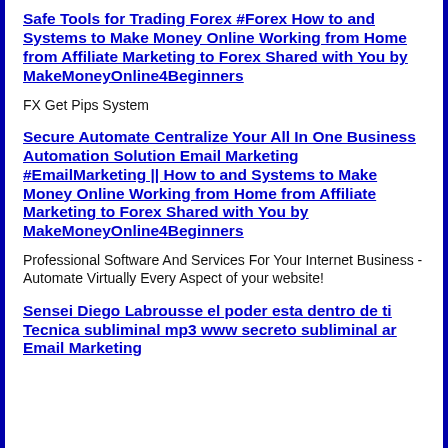Safe Tools for Trading Forex #Forex How to and Systems to Make Money Online Working from Home from Affiliate Marketing to Forex Shared with You by MakeMoneyOnline4Beginners
FX Get Pips System
Secure Automate Centralize Your All In One Business Automation Solution Email Marketing #EmailMarketing || How to and Systems to Make Money Online Working from Home from Affiliate Marketing to Forex Shared with You by MakeMoneyOnline4Beginners
Professional Software And Services For Your Internet Business - Automate Virtually Every Aspect of your website!
Sensei Diego Labrousse el poder esta dentro de ti Tecnica subliminal mp3 www secreto subliminal ar Email Marketing